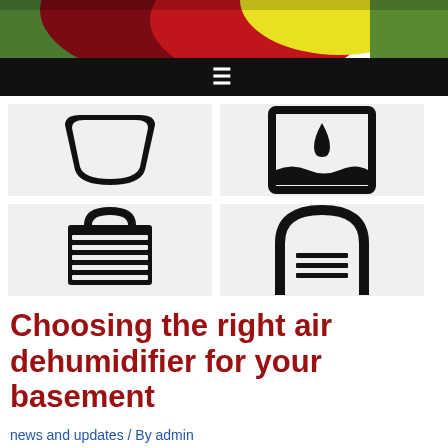[Figure (illustration): Colorful banner image with red, yellow, green abstract shapes and foliage]
[Figure (illustration): Navigation bar with hamburger menu icon on black background]
[Figure (illustration): 2x2 grid of black icons on light gray backgrounds: top-left is a wash basin/bowl, top-right is a container with water drop, bottom-left is a dehumidifier appliance with grille, bottom-right is a dehumidifier unit with grille]
Choosing the right air dehumidifier for your basement
news and updates / By admin